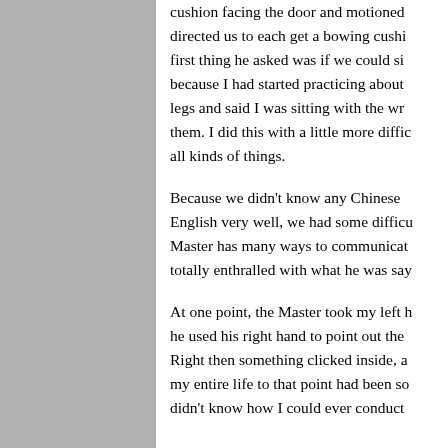cushion facing the door and motioned directed us to each get a bowing cushio first thing he asked was if we could si because I had started practicing about a legs and said I was sitting with the wro them. I did this with a little more diffic all kinds of things.
Because we didn't know any Chinese a English very well, we had some difficu Master has many ways to communicat totally enthralled with what he was say
At one point, the Master took my left h he used his right hand to point out the Right then something clicked inside, a my entire life to that point had been so didn't know how I could ever conduct